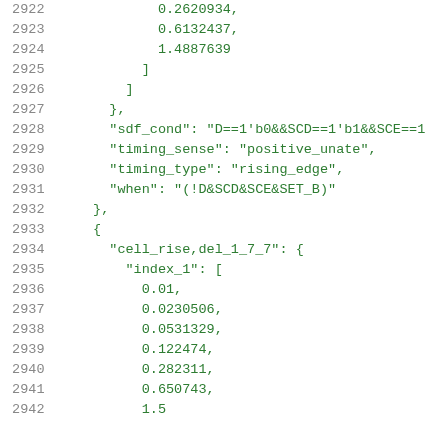2922    0.2620934,
2923    0.6132437,
2924    1.4887639
2925        ]
2926    ]
2927    },
2928    "sdf_cond": "D==1'b0&&SCD==1'b1&&SCE==1
2929    "timing_sense": "positive_unate",
2930    "timing_type": "rising_edge",
2931    "when": "(!D&SCD&SCE&SET_B)"
2932    },
2933    {
2934    "cell_rise,del_1_7_7": {
2935    "index_1": [
2936    0.01,
2937    0.0230506,
2938    0.0531329,
2939    0.122474,
2940    0.282311,
2941    0.650743,
2942    1.5